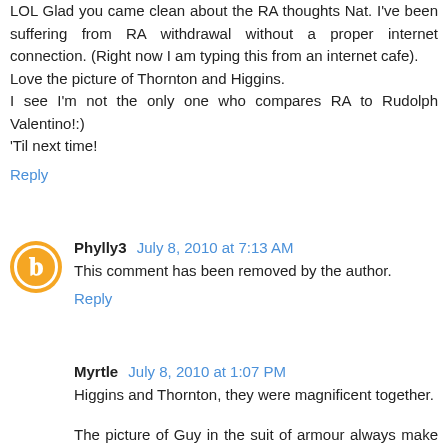LOL Glad you came clean about the RA thoughts Nat. I've been suffering from RA withdrawal without a proper internet connection. (Right now I am typing this from an internet cafe).
Love the picture of Thornton and Higgins.
I see I'm not the only one who compares RA to Rudolph Valentino!:)
'Til next time!
Reply
Phylly3 July 8, 2010 at 7:13 AM
This comment has been removed by the author.
Reply
Myrtle July 8, 2010 at 1:07 PM
Higgins and Thornton, they were magnificent together.
The picture of Guy in the suit of armour always make me laugh. They must have had fun filming that.